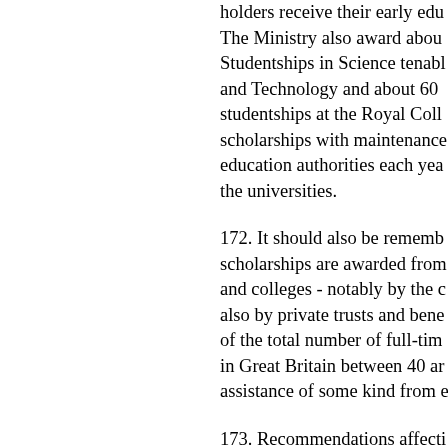holders receive their early edu... The Ministry also award about... Studentships in Science tenable... and Technology and about 60... studentships at the Royal Coll... scholarships with maintenance... education authorities each year... the universities.
172. It should also be remembered that scholarships are awarded from universities and colleges - notably by the colleges - also by private trusts and benefactions. of the total number of full-time students in Great Britain between 40 and... assistance of some kind from...
173. Recommendations affecting universities awarded both by the... education authorities are contained... Committee, which has been re...
SPECIAL WAR-TIME SCHO...
174. During the war over 6,00... engineering (mechanical and...